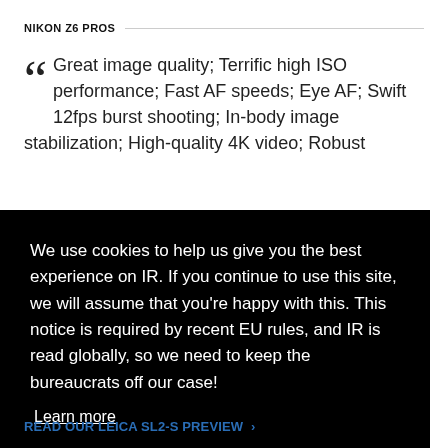NIKON Z6 PROS
Great image quality; Terrific high ISO performance; Fast AF speeds; Eye AF; Swift 12fps burst shooting; In-body image stabilization; High-quality 4K video; Robust
We use cookies to help us give you the best experience on IR. If you continue to use this site, we will assume that you're happy with this. This notice is required by recent EU rules, and IR is read globally, so we need to keep the bureaucrats off our case!
Learn more
Got it!
READ OUR LEICA SL2-S PREVIEW →